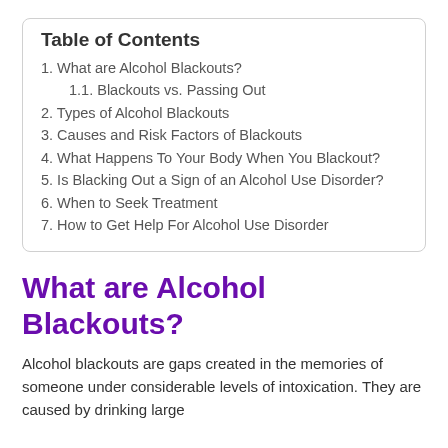Table of Contents
1. What are Alcohol Blackouts?
1.1. Blackouts vs. Passing Out
2. Types of Alcohol Blackouts
3. Causes and Risk Factors of Blackouts
4. What Happens To Your Body When You Blackout?
5. Is Blacking Out a Sign of an Alcohol Use Disorder?
6. When to Seek Treatment
7. How to Get Help For Alcohol Use Disorder
What are Alcohol Blackouts?
Alcohol blackouts are gaps created in the memories of someone under considerable levels of intoxication. They are caused by drinking large